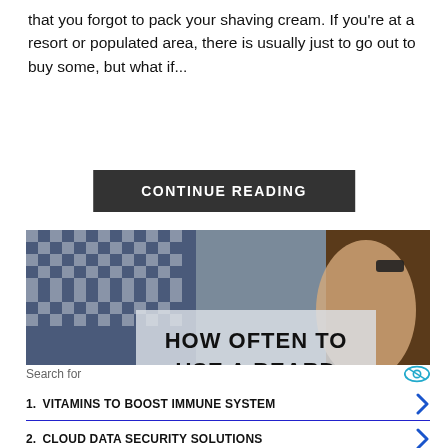that you forgot to pack your shaving cream. If you're at a resort or populated area, there is usually just to go out to buy some, but what if...
CONTINUE READING
[Figure (photo): Person holding a sign that reads HOW OFTEN TO USE A BEARD CONDITIONER? with checkered clothing in background]
Search for
1. VITAMINS TO BOOST IMMUNE SYSTEM
2. CLOUD DATA SECURITY SOLUTIONS
Yahoo! Search | Sponsored